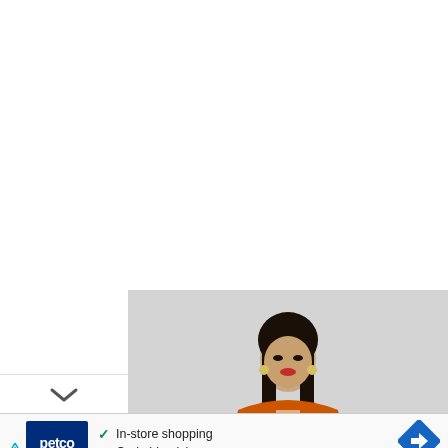[Figure (photo): A woman wearing an orange African print wrap top with billowing long sleeves and matching shorts/skirt, standing against a light gray background. The outfit features a bold orange, white, gold, and black Ankara pattern.]
[Figure (screenshot): An advertisement banner for Petco showing the Petco logo on the left, two checkmarks listing 'In-store shopping' and 'Curbside pickup', and a blue navigation arrow icon on the right. Small ad disclosure triangles appear on the lower left.]